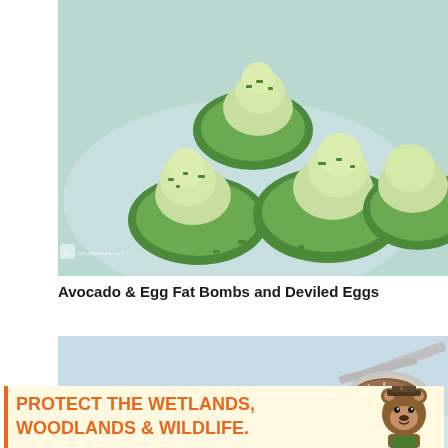[Figure (photo): Close-up photograph of cucumber slices topped with creamy avocado mixture and chopped green onions, arranged on a light blue plate.]
Avocado & Egg Fat Bombs and Deviled Eggs
[Figure (photo): Food photo showing a spoonful of what appears to be a meat or grain dish, against a light blue background.]
[Figure (infographic): Advertisement banner reading 'PROTECT THE WETLANDS, WOODLANDS & WILDLIFE.' with a Smokey Bear illustration on the right side. Orange and yellow text on a white/cream background.]